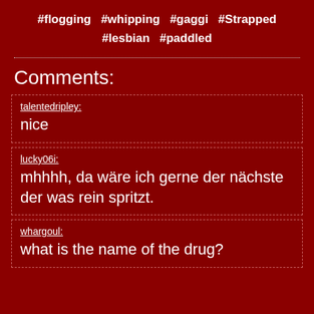#flogging  #whipping  #gaggi  #Strapped  #lesbian  #paddled
Comments:
talentedripley:
nice
lucky06i:
mhhhh, da wäre ich gerne der nächste der was rein spritzt.
whargoul:
what is the name of the drug?